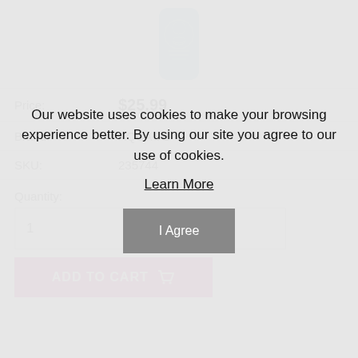[Figure (photo): Product photo of an Aquage equalizing detangler bottle in teal/blue color]
| Price: | $25.99 |
| Brand: | AQUAGE |
| SKU: | 235744 |
Quantity:
1
ADD TO CART
Our website uses cookies to make your browsing experience better. By using our site you agree to our use of cookies.
Learn More
I Agree